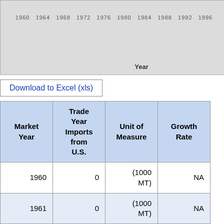[Figure (continuous-plot): Line chart showing trade year imports from U.S. over years 1960-1996, x-axis labeled 'Year' with diagonal year labels]
Download to Excel (xls)
| Market Year | Trade Year Imports from U.S. | Unit of Measure | Growth Rate |
| --- | --- | --- | --- |
| 1960 | 0 | (1000 MT) | NA |
| 1961 | 0 | (1000 MT) | NA |
| 1962 | 0 | (1000 MT) | NA |
| 1963 | 0 | (1000 MT) | NA |
| 1964 | 0 | (1000 MT) | NA |
| 1965 | 0 | (1000 MT) | NA |
| 1966 | 0 | (1000 MT) | NA |